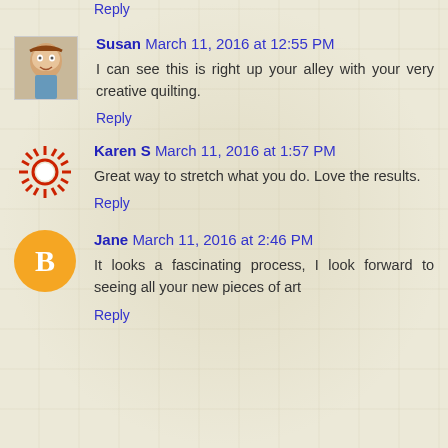Reply
Susan March 11, 2016 at 12:55 PM
I can see this is right up your alley with your very creative quilting.
Reply
Karen S March 11, 2016 at 1:57 PM
Great way to stretch what you do. Love the results.
Reply
Jane March 11, 2016 at 2:46 PM
It looks a fascinating process, I look forward to seeing all your new pieces of art
Reply